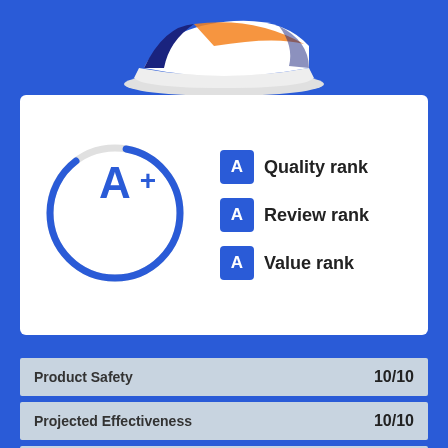[Figure (illustration): Partial view of a white, orange, and navy athletic shoe at the top of the page]
[Figure (infographic): Rating card showing A+ grade in a blue circle on the left, and three badge items on the right: A Quality rank, A Review rank, A Value rank]
| Category | Score |
| --- | --- |
| Product Safety | 10/10 |
| Projected Effectiveness | 10/10 |
| Value | 10/10 |